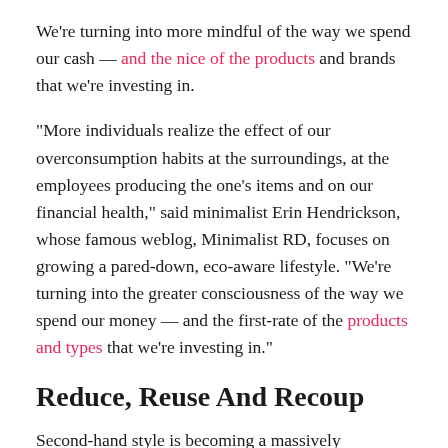We're turning into more mindful of the way we spend our cash — and the nice of the products and brands that we're investing in.
“More individuals realize the effect of our overconsumption habits at the surroundings, at the employees producing the one’s items and on our financial health,” said minimalist Erin Hendrickson, whose famous weblog, Minimalist RD, focuses on growing a pared-down, eco-aware lifestyle. “We’re turning into the greater consciousness of the way we spend our money — and the first-rate of the products and types that we’re investing in.”
Reduce, Reuse And Recoup
Second-hand style is becoming a massively commercial enterprise. According to the 2018 ThredUp Resale Report, the second-hand clothes market...